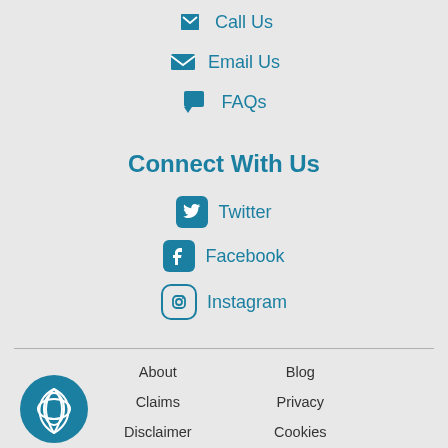Call Us
Email Us
FAQs
Connect With Us
Twitter
Facebook
Instagram
About  Blog  Claims  Privacy  Disclaimer  Cookies  Complaints  Contact